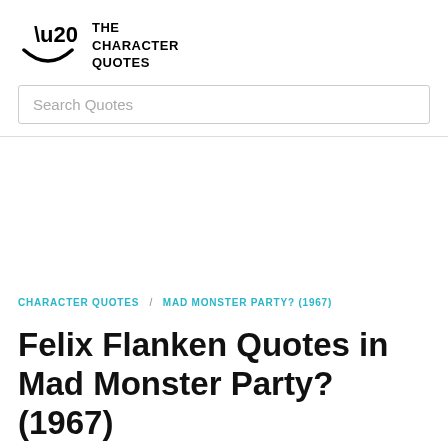THE CHARACTER QUOTES
Search Quotes
CHARACTER QUOTES / MAD MONSTER PARTY? (1967)
Felix Flanken Quotes in Mad Monster Party? (1967)